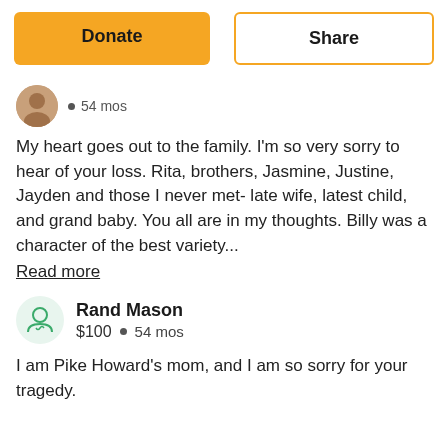Donate
Share
54 mos
My heart goes out to the family. I'm so very sorry to hear of your loss. Rita, brothers, Jasmine, Justine, Jayden and those I never met- late wife, latest child, and grand baby. You all are in my thoughts. Billy was a character of the best variety...
Read more
Rand Mason
$100  •  54 mos
I am Pike Howard's mom, and I am so sorry for your tragedy.